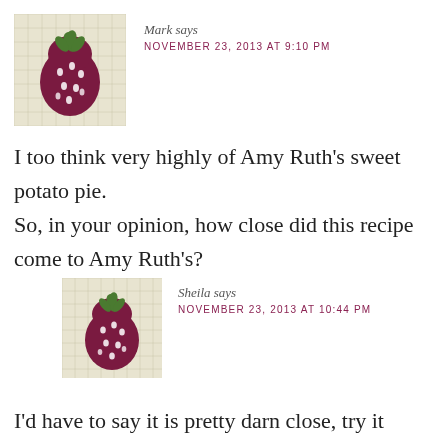[Figure (illustration): Strawberry avatar icon with checkered background for user Mark]
Mark says
NOVEMBER 23, 2013 AT 9:10 PM
I too think very highly of Amy Ruth’s sweet potato pie.
So, in your opinion, how close did this recipe come to Amy Ruth’s?
[Figure (illustration): Strawberry avatar icon with checkered background for user Sheila]
Sheila says
NOVEMBER 23, 2013 AT 10:44 PM
I’d have to say it is pretty darn close, try it